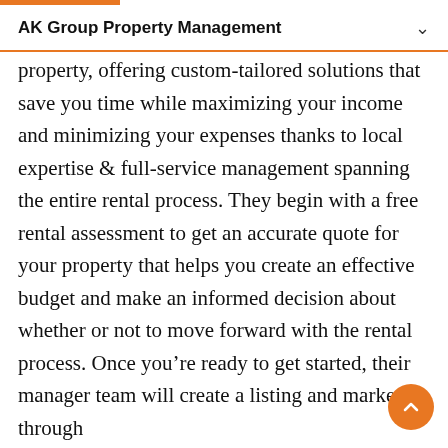AK Group Property Management
property, offering custom-tailored solutions that save you time while maximizing your income and minimizing your expenses thanks to local expertise & full-service management spanning the entire rental process. They begin with a free rental assessment to get an accurate quote for your property that helps you create an effective budget and make an informed decision about whether or not to move forward with the rental process. Once you’re ready to get started, their manager team will create a listing and market it through